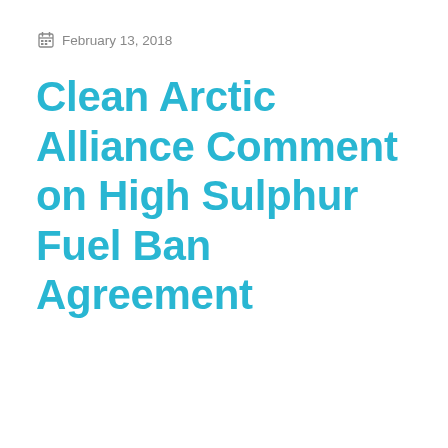February 13, 2018
Clean Arctic Alliance Comment on High Sulphur Fuel Ban Agreement